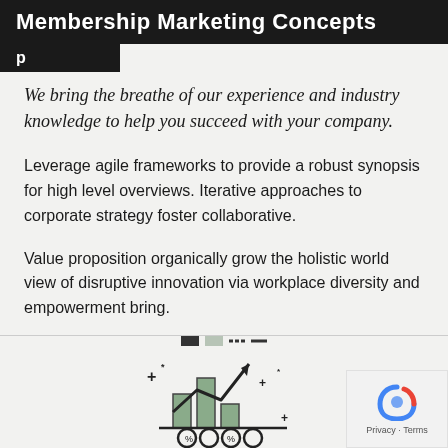Membership Marketing Concepts
We bring the breathe of our experience and industry knowledge to help you succeed with your company.
Leverage agile frameworks to provide a robust synopsis for high level overviews. Iterative approaches to corporate strategy foster collaborative.
Value proposition organically grow the holistic world view of disruptive innovation via workplace diversity and empowerment bring.
[Figure (illustration): Bar chart growth icon with upward arrow, sparkles/plus signs, and percentage symbols — decorative business infographic illustration]